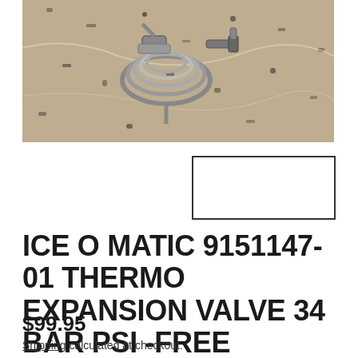[Figure (photo): Photo of a metal thermo expansion valve (coiled silver metal part) resting on a granite countertop surface. The part appears to be a refrigeration/HVAC expansion valve with coiled tubing and fittings.]
[Figure (photo): Small thumbnail image box (empty/white) with a dark border, positioned to the right below the main product image.]
ICE O MATIC 9151147-01 THERMO EXPANSION VALVE 34 BAR PSI -FREE SHIPPING
$99.95
Shipping calculated at checkout.